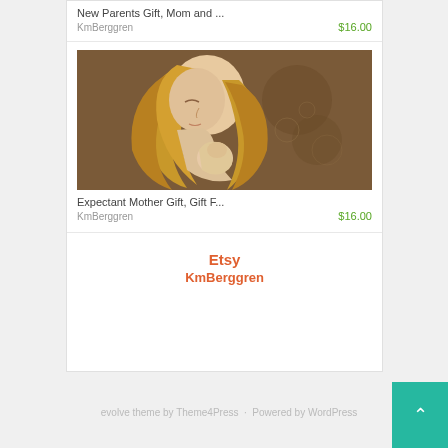New Parents Gift, Mom and ...
KmBerggren  $16.00
[Figure (illustration): Painting of a woman with flowing hair holding a small figure, warm brown and cream tones, artistic style]
Expectant Mother Gift, Gift F...
KmBerggren  $16.00
Etsy
KmBerggren
evolve theme by Theme4Press  ·  Powered by WordPress